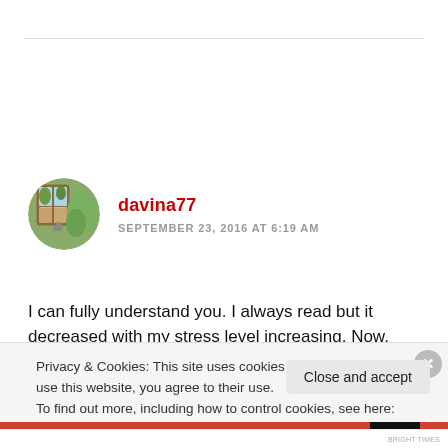davina77
SEPTEMBER 23, 2016 AT 6:19 AM
I can fully understand you. I always read but it decreased with my stress level increasing. Now, since I reactivated
Privacy & Cookies: This site uses cookies. By continuing to use this website, you agree to their use.
To find out more, including how to control cookies, see here: Cookie Policy
Close and accept